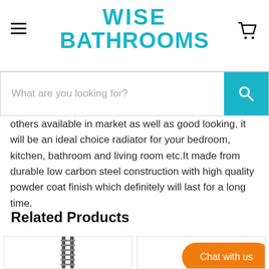WISE BATHROOMS
others available in market as well as good looking, it will be an ideal choice radiator for your bedroom, kitchen, bathroom and living room etc.It made from durable low carbon steel construction with high quality powder coat finish which definitely will last for a long time.
Related Products
[Figure (photo): Towel rail radiator product image in first related product card]
[Figure (photo): Second related product image with Chat with us button overlay]